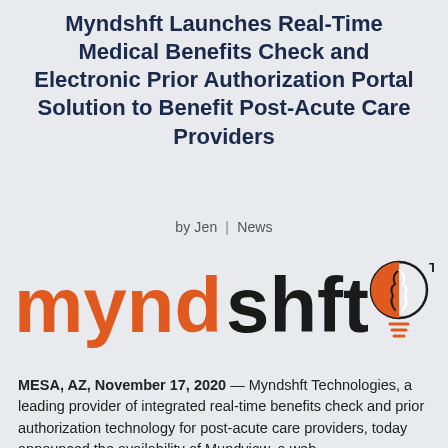Myndshft Launches Real-Time Medical Benefits Check and Electronic Prior Authorization Portal Solution to Benefit Post-Acute Care Providers
by Jen | News
[Figure (logo): Myndshft logo: 'mynd' in orange, 'shft' in black, with a brain-lightbulb icon and TM mark]
MESA, AZ, November 17, 2020 — Myndshft Technologies, a leading provider of integrated real-time benefits check and prior authorization technology for post-acute care providers, today announced the availability of Mundview, a web...